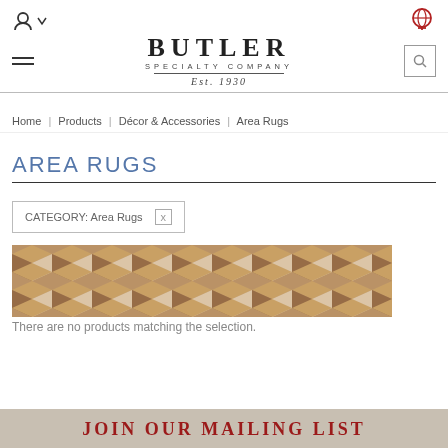Butler Specialty Company Est. 1930
Home | Products | Décor & Accessories | Area Rugs
AREA RUGS
CATEGORY: Area Rugs  x
[Figure (photo): Close-up photo of a geometric 3D cube pattern area rug in brown and cream tones]
There are no products matching the selection.
JOIN OUR MAILING LIST